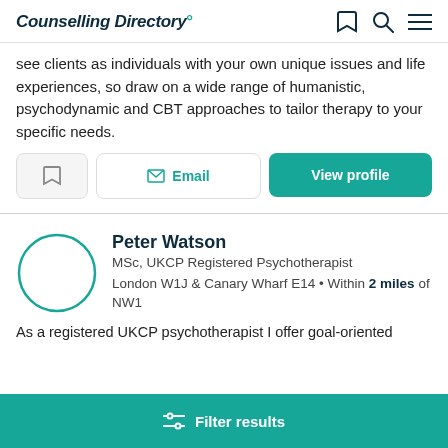Counselling Directory
see clients as individuals with your own unique issues and life experiences, so draw on a wide range of humanistic, psychodynamic and CBT approaches to tailor therapy to your specific needs.
[Figure (other): Three action buttons: bookmark icon, Email button, View profile button]
[Figure (other): Profile avatar circle placeholder for Peter Watson]
Peter Watson
MSc, UKCP Registered Psychotherapist
London W1J & Canary Wharf E14 • Within 2 miles of NW1
As a registered UKCP psychotherapist I offer goal-oriented
Filter results